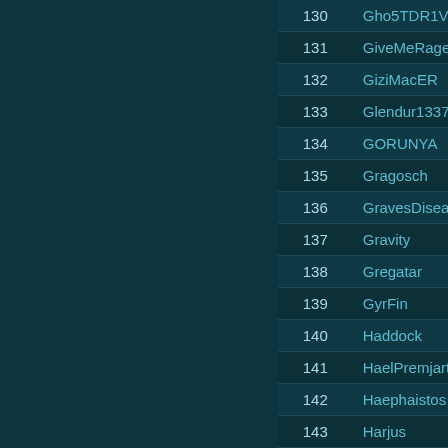| # | Name |
| --- | --- |
| 130 | Gho5TDR1VE |
| 131 | GiveMeRage |
| 132 | GiziMacER |
| 133 | Glendur1337 |
| 134 | GORUNYA |
| 135 | Gragosch |
| 136 | GravesDisease |
| 137 | Gravity |
| 138 | Gregatar |
| 139 | GyrFin |
| 140 | Haddock |
| 141 | HaelPremjartonn |
| 142 | Haephaistos |
| 143 | Harjus |
| 144 | HawkenXx |
| 145 | Hazzaslagga |
| 146 | HeadshotROT |